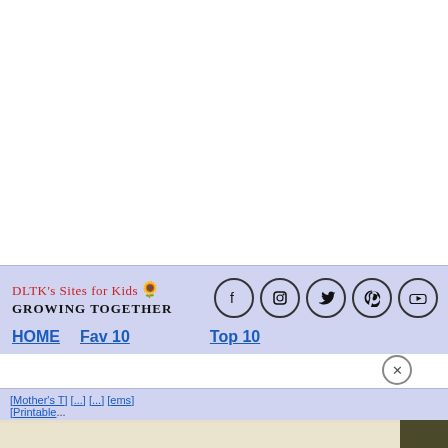DLTK's Sites for Kids 🌻 Growing Together
HOME
Fav 10
Top 10
[Mother's T... | ems] [Printable...
[Figure (screenshot): Social media icons: Facebook, Instagram, Twitter, Pinterest, YouTube in circular outlines]